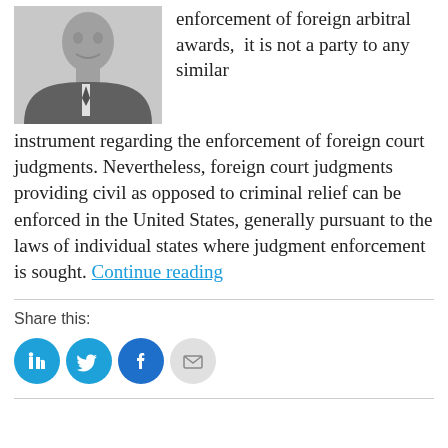[Figure (photo): Black and white headshot photo of a man in a suit and tie]
enforcement of foreign arbitral awards,  it is not a party to any similar instrument regarding the enforcement of foreign court judgments. Nevertheless, foreign court judgments providing civil as opposed to criminal relief can be enforced in the United States, generally pursuant to the laws of individual states where judgment enforcement is sought. Continue reading
Share this: